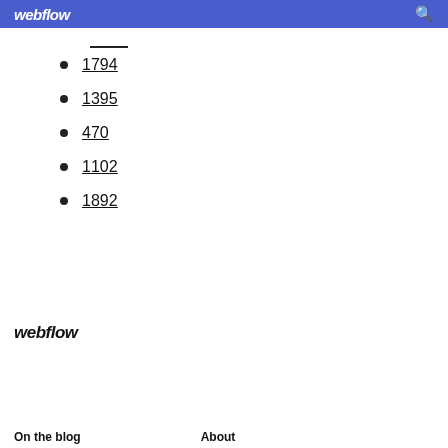webflow
1794
1395
470
1102
1892
webflow
On the blog    About